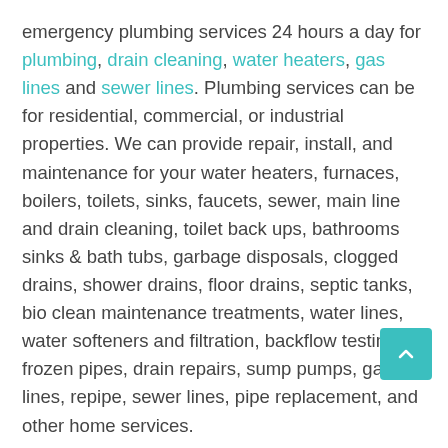emergency plumbing services 24 hours a day for plumbing, drain cleaning, water heaters, gas lines and sewer lines. Plumbing services can be for residential, commercial, or industrial properties. We can provide repair, install, and maintenance for your water heaters, furnaces, boilers, toilets, sinks, faucets, sewer, main line and drain cleaning, toilet back ups, bathrooms sinks & bath tubs, garbage disposals, clogged drains, shower drains, floor drains, septic tanks, bio clean maintenance treatments, water lines, water softeners and filtration, backflow testing, frozen pipes, drain repairs, sump pumps, gas lines, repipe, sewer lines, pipe replacement, and other home services.
WHAT ARE AVANTEL PLUMBING'S HOURS OF OPERATION IN ARROWHEAD, IL, AND ARE